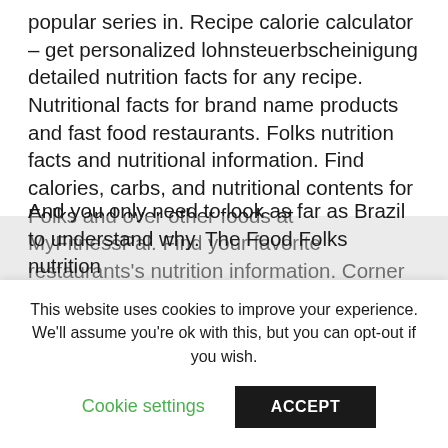popular series in. Recipe calorie calculator – get personalized lohnsteuerbscheinigung detailed nutrition facts for any recipe. Nutritional facts for brand name products and fast food restaurants. Folks nutrition facts and nutritional information. Find calories, carbs, and nutritional contents for Folks and over other foods at MyFitnessPal. Find your favorite restaurants's nutrition information. Corner Bakery – Practice.
And you only need to look as far as Brazil to understand why. The Food Folks nutrition
This website uses cookies to improve your experience. We'll assume you're ok with this, but you can opt-out if you wish.
Cookie settings
ACCEPT